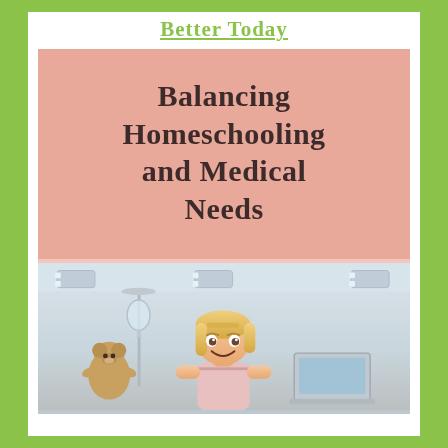Better Today
Balancing Homeschooling and Medical Needs
[Figure (photo): A young blonde girl smiling in a hospital room, with a teddy bear and medical equipment visible nearby, sitting in front of a laptop.]